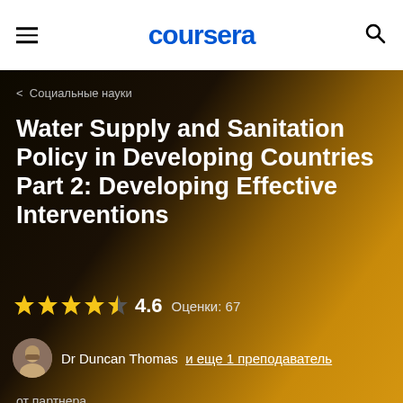coursera
< Социальные науки
Water Supply and Sanitation Policy in Developing Countries Part 2: Developing Effective Interventions
★★★★½ 4.6  Оценки: 67
Dr Duncan Thomas  и еще 1 преподаватель
от партнера
[Figure (logo): University of Manchester logo with text MANCHESTER 1824]